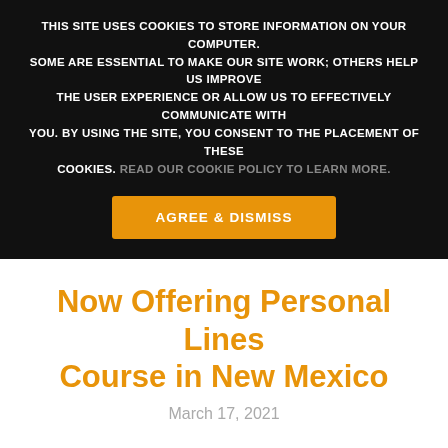THIS SITE USES COOKIES TO STORE INFORMATION ON YOUR COMPUTER. SOME ARE ESSENTIAL TO MAKE OUR SITE WORK; OTHERS HELP US IMPROVE THE USER EXPERIENCE OR ALLOW US TO EFFECTIVELY COMMUNICATE WITH YOU. BY USING THE SITE, YOU CONSENT TO THE PLACEMENT OF THESE COOKIES. READ OUR COOKIE POLICY TO LEARN MORE.
AGREE & DISMISS
Now Offering Personal Lines Course in New Mexico
March 17, 2021
ExamFX is now offering a New Mexico Personal Lines course.